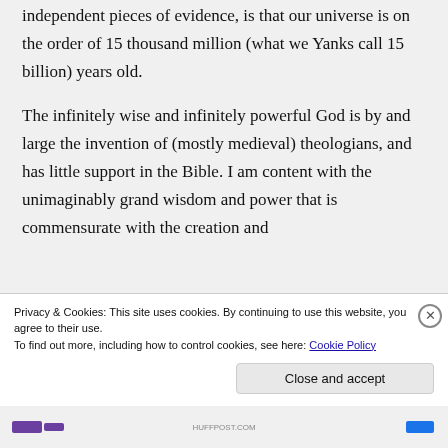independent pieces of evidence, is that our universe is on the order of 15 thousand million (what we Yanks call 15 billion) years old.
The infinitely wise and infinitely powerful God is by and large the invention of (mostly medieval) theologians, and has little support in the Bible. I am content with the unimaginably grand wisdom and power that is commensurate with the creation and
Privacy & Cookies: This site uses cookies. By continuing to use this website, you agree to their use.
To find out more, including how to control cookies, see here: Cookie Policy
Close and accept